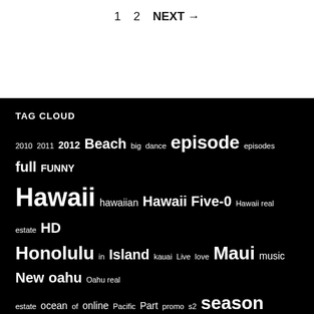1   2   NEXT →
TAG CLOUD
2010 2011 2012 Beach big dance episode episodes full FUNNY Hawaii hawaiian Hawaii Five-0 Hawaii real estate HD Honolulu in Island kauai Live love Maui music New oahu Oahu real estate ocean of online Pacific Part promo s2 season Series surf surfing Television THE trailer travel TV vacation VIDEO WATCH
CATEGORIES
Hawaii Vacation Specials
Hawaii Vacations, Travel, News